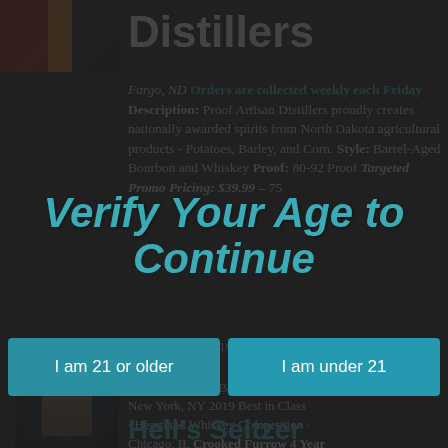Distillers
Fargo, ND Orders are collected weekly each Friday Description: Proof Artisan Distillers proudly creates nationally awarded spirits from North Dakota agricultural products - Potatoes, Barley, and Corn. Style: Barrel-Aged Bourbon and Whiskey Proof: 80-92 Proof Targeted Promo Pricing: $39.99 - 750
Verify Your Age to Continue
I am 21 or older
I am under 21
Harvest Blend 2019: Gold and Best Bourbon: TherifyBest Competition New York, NY 2019 Best in Class Heartland Whiskey Competition Chicago, IL Crooked Furrow 4 Year Gold Best
Hell's Seltzer
Hell's Seltzer